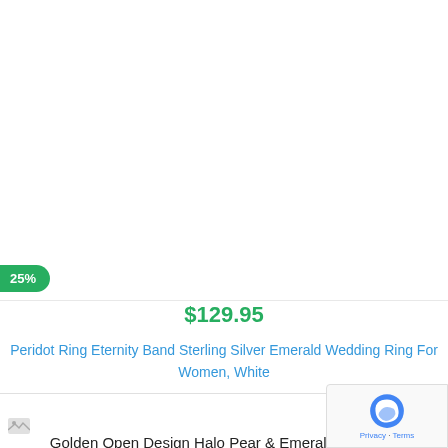[Figure (photo): Product image area (white/blank) for a peridot ring]
25%
$129.95
Peridot Ring Eternity Band Sterling Silver Emerald Wedding Ring For Women, White
[Figure (photo): Product image area for Golden Open Design Halo Pear & Emerald Wedding ring, with broken image icon]
Golden Open Design Halo Pear & Emerald Wedding White